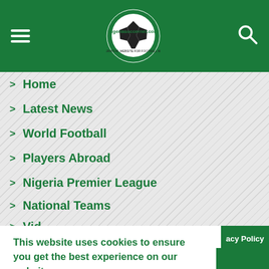nigeriasoccernet.com — Nigeria's #1 Website for Football News
Home
Latest News
World Football
Players Abroad
Nigeria Premier League
National Teams
This website uses cookies to ensure you get the best experience on our website.
Learn more
Got it!
acy Policy
Copyright © 2007 - 2022. Nigeriasoccernet